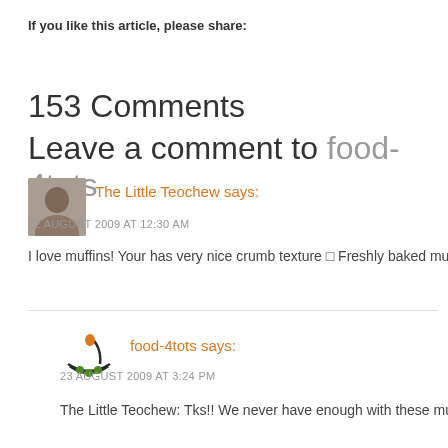If you like this article, please share:
153 Comments
Leave a comment to food-4tots
The Little Teochew says:
22 AUGUST 2009 AT 12:30 AM
I love muffins! Your has very nice crumb texture □ Freshly baked muffins are h
food-4tots says:
23 AUGUST 2009 AT 3:24 PM
The Little Teochew: Tks!! We never have enough with these muffins. G